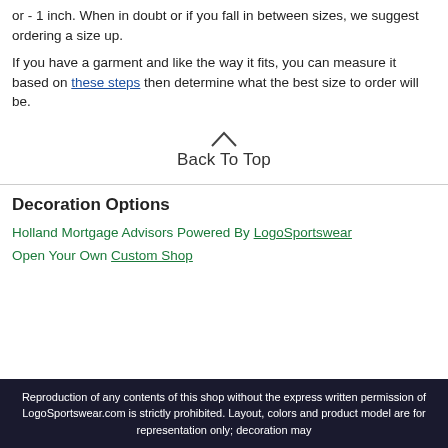or - 1 inch. When in doubt or if you fall in between sizes, we suggest ordering a size up.
If you have a garment and like the way it fits, you can measure it based on these steps then determine what the best size to order will be.
Back To Top
Decoration Options
Holland Mortgage Advisors Powered By LogoSportswear
Open Your Own Custom Shop
Reproduction of any contents of this shop without the express written permission of LogoSportswear.com is strictly prohibited. Layout, colors and product model are for representation only; decoration may